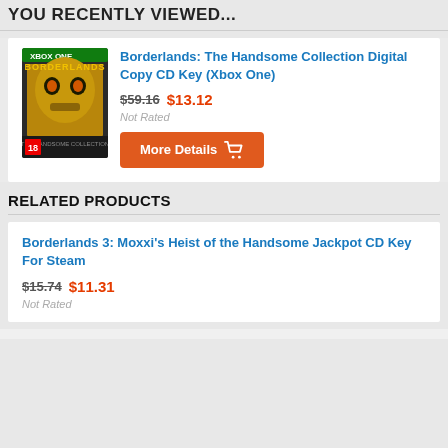YOU RECENTLY VIEWED...
[Figure (photo): Borderlands: The Handsome Collection game cover art for Xbox One showing a gold masked character]
Borderlands: The Handsome Collection Digital Copy CD Key (Xbox One)
$59.16 $13.12
Not Rated
More Details
RELATED PRODUCTS
Borderlands 3: Moxxi's Heist of the Handsome Jackpot CD Key For Steam
$15.74 $11.31
Not Rated